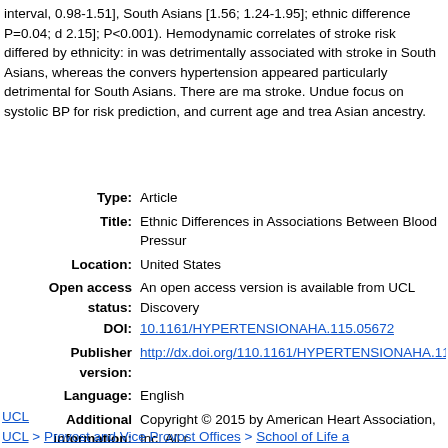interval, 0.98-1.51], South Asians [1.56; 1.24-1.95]; ethnic difference P=0.04; d 2.15]; P<0.001). Hemodynamic correlates of stroke risk differed by ethnicity: in was detrimentally associated with stroke in South Asians, whereas the convers hypertension appeared particularly detrimental for South Asians. There are ma stroke. Undue focus on systolic BP for risk prediction, and current age and trea Asian ancestry.
| Field | Value |
| --- | --- |
| Type: | Article |
| Title: | Ethnic Differences in Associations Between Blood Pressur |
| Location: | United States |
| Open access status: | An open access version is available from UCL Discovery |
| DOI: | 10.1161/HYPERTENSIONAHA.115.05672 |
| Publisher version: | http://dx.doi.org/110.1161/HYPERTENSIONAHA.115.056... |
| Language: | English |
| Additional information: | Copyright © 2015 by American Heart Association, Inc. All r |
| Keywords: | blood pressure, diabetes mellitus, fasting glucose, heart ra Pressure, Cohort Studies, Comorbidity, European Contine Incidence, Male, Middle Aged, Stroke, Waist-Hip Ratio |
UCL
UCL > Provost and Vice Provost Offices > School of Life a
UCL > Provost and Vice Provost Offices > School of Life a